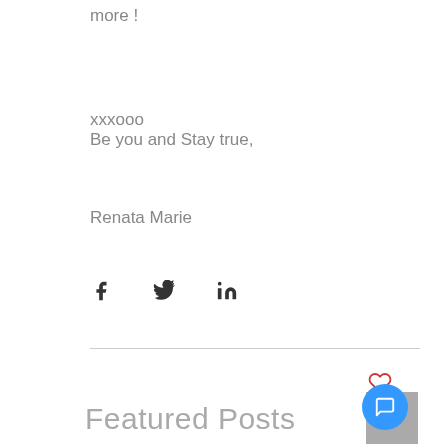more !
xxxooo
Be you and Stay true,
Renata Marie
[Figure (infographic): Social share icons: Facebook (f), Twitter (bird), LinkedIn (in)]
[Figure (infographic): Heart/like icon outline in red]
Featured Posts
[Figure (infographic): Scroll to top button: grey square with upward chevron]
[Figure (infographic): Blue horizontal line divider]
[Figure (infographic): Blue circular chat/comment button]